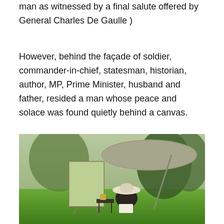man as witnessed by a final salute offered by General Charles De Gaulle )
However, behind the façade of soldier, commander-in-chief, statesman, historian, author, MP, Prime Minister, husband and father, resided a man whose peace and solace was found quietly behind a canvas.
[Figure (photo): A person wearing a wide-brimmed white hat sits outdoors in a chair in front of a canvas on an easel, painting in a lush green garden. A large umbrella shades the painter. A small table with supplies is nearby. Trees and greenery fill the background.]